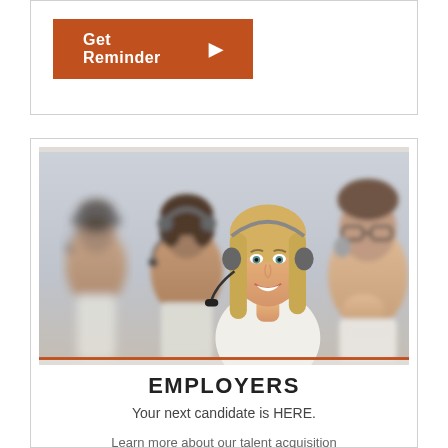[Figure (other): Orange 'Get Reminder' button with right-arrow triangle, inside a card with border]
[Figure (photo): Call center workers wearing headsets; a smiling blonde woman is in the center focus, with colleagues blurred in background]
EMPLOYERS
Your next candidate is HERE.
Learn more about our talent acquisition